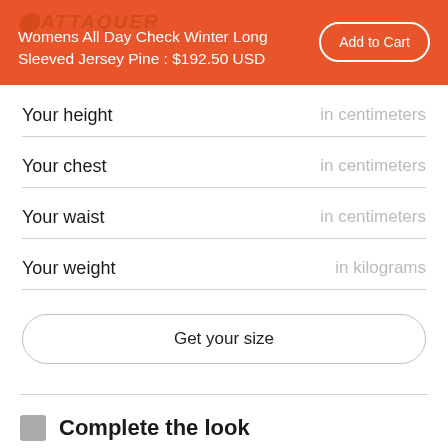Womens All Day Check Winter Long Sleeved Jersey Pine : $192.50 USD
Your height | in centimeters
Your chest | in centimeters
Your waist | in centimeters
Your weight | in kilograms
Get your size
Complete the look